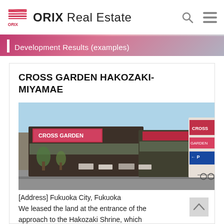ORIX Real Estate
Development Results (examples)
CROSS GARDEN HAKOZAKI-MIYAMAE
[Figure (photo): Exterior photograph of Cross Garden Hakozaki-Miyamae shopping complex — a large dark-clad building with red billboard signage, parking sign with arrow, and street view with trees and parked cars.]
[Address] Fukuoka City, Fukuoka
We leased the land at the entrance of the approach to the Hakozaki Shrine, which is well-loved by the community. We